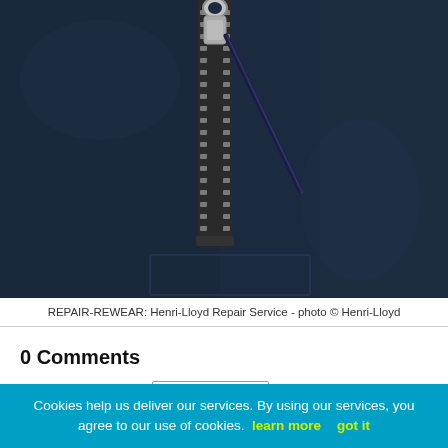[Figure (photo): Close-up photo of a dark navy blue jacket zipper with silver zipper pull and pull cord, on dark navy textile background. Henri-Lloyd Repair Service product photo.]
REPAIR-REWEAR: Henri-Lloyd Repair Service - photo © Henri-Lloyd
0 Comments
Sort by Newest
Cookies help us deliver our services. By using our services, you agree to our use of cookies. learn more   got it